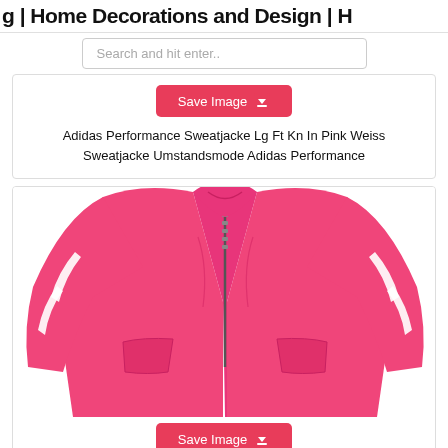g | Home Decorations and Design | H
Search and hit enter..
Save Image
Adidas Performance Sweatjacke Lg Ft Kn In Pink Weiss Sweatjacke Umstandsmode Adidas Performance
[Figure (photo): Pink Adidas zip-up hoodie/sweat jacket with white stripes on the sleeves, front zipper visible, lower pocket detail shown.]
Save Image